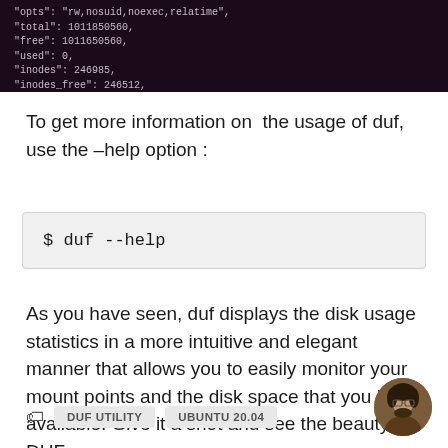[Figure (screenshot): Terminal screenshot showing JSON output with fields: opts, total, free, used, inodes, inodes_free, inodes_used, blocks, block_size]
To get more information on  the usage of duf, use the –help option :
[Figure (screenshot): Code block showing: $ duf --help]
As you have seen, duf displays the disk usage statistics in a more intuitive and elegant manner that allows you to easily monitor your mount points and the disk space that you have available. Give it a shot and see the beauty of DUF.
DUF UTILITY   UBUNTU 20.04